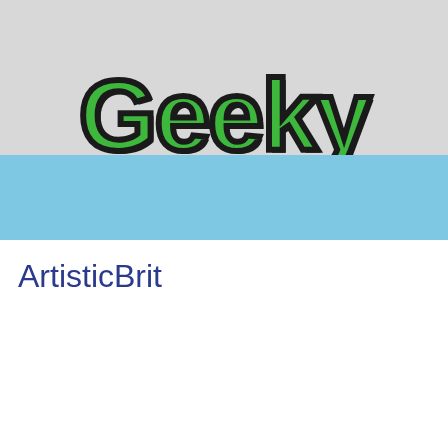[Figure (logo): Partially cropped 'Geeky' logo in large bold green text with black outline on a light gray background banner]
ArtisticBrit